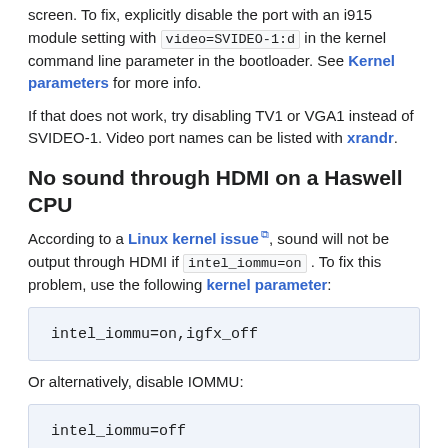screen. To fix, explicitly disable the port with an i915 module setting with video=SVIDEO-1:d in the kernel command line parameter in the bootloader. See Kernel parameters for more info.
If that does not work, try disabling TV1 or VGA1 instead of SVIDEO-1. Video port names can be listed with xrandr.
No sound through HDMI on a Haswell CPU
According to a Linux kernel issue, sound will not be output through HDMI if intel_iommu=on . To fix this problem, use the following kernel parameter:
intel_iommu=on,igfx_off
Or alternatively, disable IOMMU:
intel_iommu=off
Crash/freeze on low power Intel CPUs